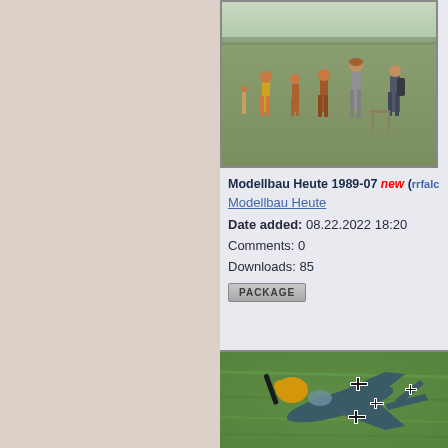[Figure (photo): Outdoor field scene with several people standing, model aircraft activity area]
Modellbau Heute 1989-07 new (rrfalc
Modellbau Heute
Date added: 08.22.2022 18:20
Comments: 0
Downloads: 85
PACKAGE
[Figure (photo): RC model airplane (WWII German Bf-109 style) with yellow nose cowling and German cross markings on grass]